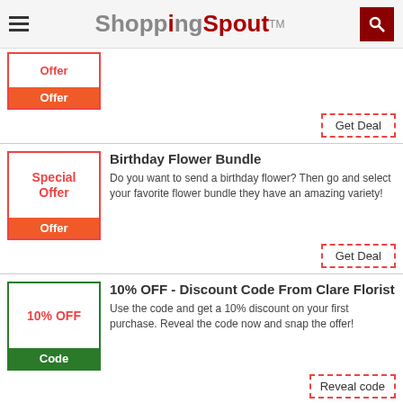ShoppingSpout TM
[Figure (screenshot): Partial coupon deal card with orange 'Offer' badge and 'Get Deal' dashed button]
Birthday Flower Bundle
Do you want to send a birthday flower? Then go and select your favorite flower bundle they have an amazing variety!
Get Deal
10% OFF - Discount Code From Clare Florist
Use the code and get a 10% discount on your first purchase. Reveal the code now and snap the offer!
Reveal code
20% Discount Offer